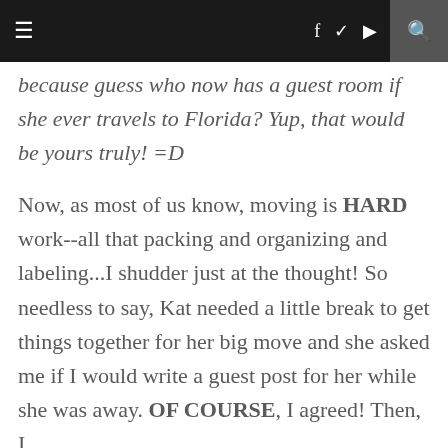≡  f  ✓  ☎  ⊕  ♥  🔍
because guess who now has a guest room if she ever travels to Florida? Yup, that would be yours truly! =D
Now, as most of us know, moving is HARD work--all that packing and organizing and labeling...I shudder just at the thought! So needless to say, Kat needed a little break to get things together for her big move and she asked me if I would write a guest post for her while she was away. OF COURSE, I agreed! Then, I